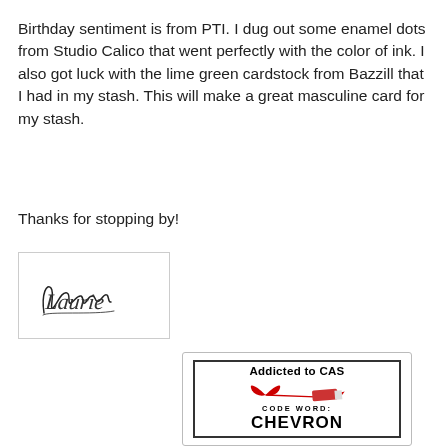Birthday sentiment is from PTI. I dug out some enamel dots from Studio Calico that went perfectly with the color of ink. I also got luck with the lime green cardstock from Bazzill that I had in my stash. This will make a great masculine card for my stash.
Thanks for stopping by!
[Figure (illustration): A cursive handwritten signature reading 'Laurie' in a bordered white box]
[Figure (logo): Addicted to CAS badge with a heart/pen illustration, 'CODE WORD:' text, and 'CHEVRON' in large bold letters]